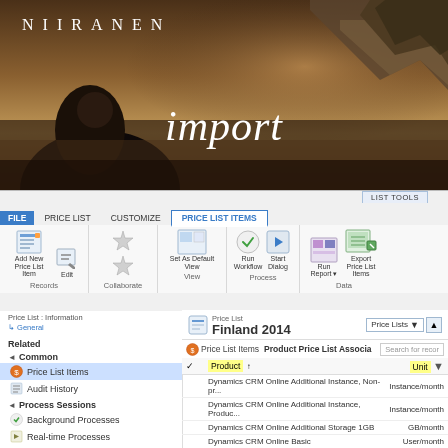[Figure (screenshot): Hero image with man silhouette and mountain landscape. NIIRANEN logo text at top left. Word 'import' in italic serif at center.]
[Figure (screenshot): Microsoft Dynamics CRM ribbon interface showing LIST TOOLS > PRICE LIST ITEMS tab with buttons: Add New Price List Item, Edit, Set As Default View, Run Workflow, Start Dialog, Run Report, Export Price List Items grouped under Records, Collaborate, View, Process, Data.]
Price List : Information
General
Related
Common
Price List Items
Audit History
Process Sessions
Background Processes
Real-time Processes
Price List
Finland 2014
| Product | Unit |
| --- | --- |
| Dynamics CRM Online Additional Instance, Non-pr... | Instance/month |
| Dynamics CRM Online Additional Instance, Produc... | Instance/month |
| Dynamics CRM Online Additional Storage 1GB | GB/month |
| Dynamics CRM Online Basic | User/month |
| Dynamics CRM Online Essential | User/month |